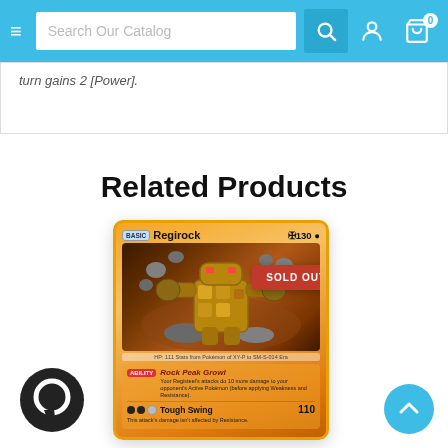Search Our Catalog
turn gains 2 [Power].
Related Products
[Figure (illustration): Pokemon trading card: Regirock, BASIC, 130 HP. Ability: Rock Peak Growl - Your Registeel's attacks do 10 more damage to your opponent's Active Pokemon (before applying Weakness and Resistance). Attack: Tough Swing, cost 2 dark + 1 colorless, damage 110. This attack's damage isn't affected by Resistance. SOLD OUT badge overlaid.]